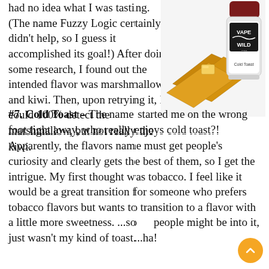had no idea what I was tasting. (The name Fuzzy Logic certainly didn't help, so I guess it accomplished its goal!) After doing some research, I found out the intended flavor was marshmallow and kiwi. Then, upon retrying it, I could 100% detect the marshmallow, but not really the kiwi.
[Figure (photo): Product photo of Vape Wild 'Cold Toast' e-liquid bottle with toast/pastry food items in the foreground on a white background.]
#7. Cold Toast – The name started me on the wrong foot tight away, who really enjoys cold toast?! Apparently, the flavors name must get people's curiosity and clearly gets the best of them, so I get the intrigue. My first thought was tobacco. I feel like it would be a great transition for someone who prefers tobacco flavors but wants to transition to a flavor with a little more sweetness. ...some people might be into it, just wasn't my kind of toast...ha!